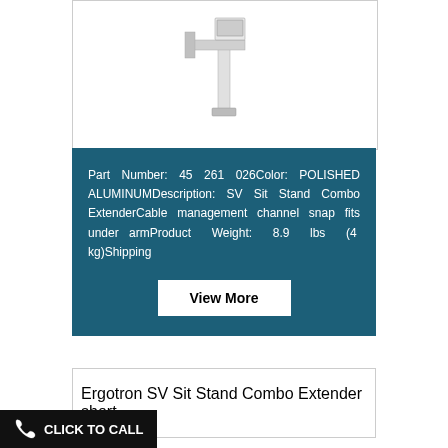[Figure (photo): Product photo of Ergotron SV Sit Stand Combo Extender mounted unit, white/silver color, shown from front/side angle]
Part Number: 45 261 026Color: POLISHED ALUMINUMDescription: SV Sit Stand Combo ExtenderCable management channel snap fits under armProduct Weight: 8.9 lbs (4 kg)Shipping
View More
Ergotron SV Sit Stand Combo Extender short
CLICK TO CALL